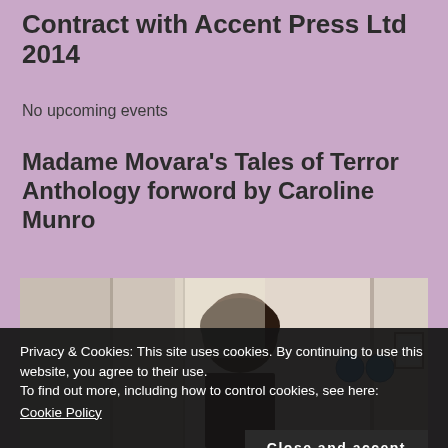Contract with Accent Press Ltd 2014
No upcoming events
Madame Movara’s Tales of Terror Anthology forword by Caroline Munro
[Figure (photo): A woman with dark hair in a room, with blue circular signs visible and a framed item on the wall.]
Privacy & Cookies: This site uses cookies. By continuing to use this website, you agree to their use.
To find out more, including how to control cookies, see here:
Cookie Policy
Close and accept